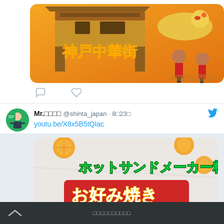[Figure (illustration): Kobe Chinatown (神戸中華街) promotional image with orange/yellow background, Chinese gate, dragon, and performers in red costumes]
[Figure (other): Social media icons: comment bubble and heart/like icon]
Mr.□□□□ @shinta_japan · 8月23日
youtu.be/X8x5B5tQIac
[Figure (photo): Hot sandwich maker cooking (ホットサンドメーカー料理) okonomiyaki (お好み焼き) thumbnail image with chef character, oranges, and cooking pan with food]
□□□□□□□□□□